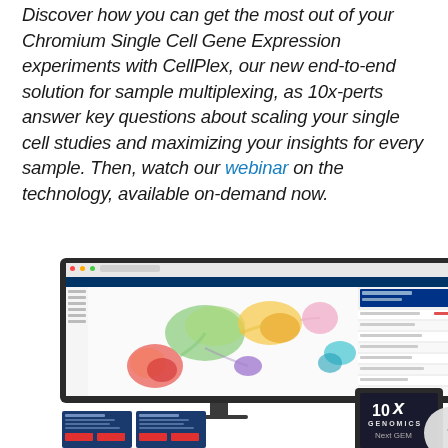Discover how you can get the most out of your Chromium Single Cell Gene Expression experiments with CellPlex, our new end-to-end solution for sample multiplexing, as 10x-perts answer key questions about scaling your single cell studies and maximizing your insights for every sample. Then, watch our webinar on the technology, available on-demand now.
[Figure (screenshot): Product screenshot showing 10x Genomics Loupe Browser software with a colorful UMAP/tSNE cell cluster visualization on a monitor, alongside data tables, document cards with red buttons, and a 10x Genomics Next GEM instrument device. Multiple UI panels and marketing cards are visible.]